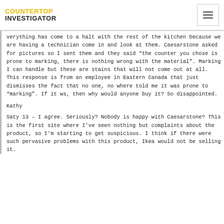COUNTERTOP INVESTIGATOR
verything has come to a halt with the rest of the kitchen because we are having a technician come in and look at them. Caesarstone asked for pictures so I sent them and they said “the counter you chose is prone to marking, there is nothing wrong with the material”. Marking I can handle but these are stains that will not come out at all. This response is from an employee in Eastern Canada that just dismisses the fact that no one, no where told me it was prone to “marking”. If it ws, then why would anyone buy it? So disappointed.
Kathy
Saty 13 – I agree. Seriously? Nobody is happy with Caesarstone? This is the first site where I’ve seen nothing but complaints about the product, so I’m starting to get suspicious. I think if there were such pervasive problems with this product, Ikea would not be selling it.